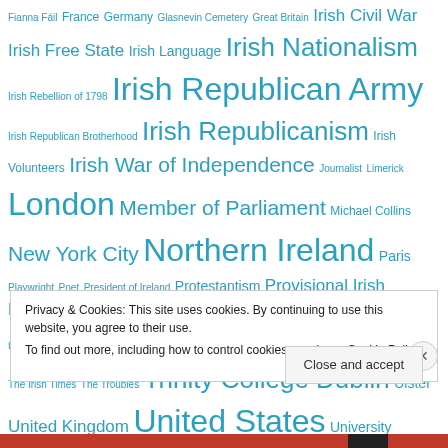Fianna Fáil France Germany Glasnevin Cemetery Great Britain Irish Civil War Irish Free State Irish Language Irish Nationalism Irish Rebellion of 1798 Irish Republican Army Irish Republican Brotherhood Irish Republicanism Irish Volunteers Irish War of Independence Journalist Limerick London Member of Parliament Michael Collins New York City Northern Ireland Paris Playwright Poet President of Ireland Protestantism Provisional Irish Republican Army Republic of Ireland Rome Royal Irish Constabulary Royal Ulster Constabulary Scotland Sinn Féin Taoiseach Teachta Dála The Irish Times The Troubles Trinity College Dublin Ulster United Kingdom United States University College Dublin World War I World War II Éamon De Valera
Privacy & Cookies: This site uses cookies. By continuing to use this website, you agree to their use. To find out more, including how to control cookies, see here: Cookie Policy
Close and accept